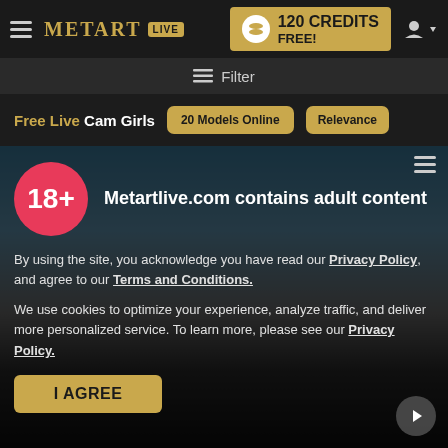[Figure (screenshot): MetArt Live website navigation bar with logo, 120 Credits Free banner, and user icon]
Filter
Free Live Cam Girls
20 Models Online
Relevance
[Figure (photo): Blurred outdoor background photo with sky and clouds, used as website background]
Metartlive.com contains adult content
By using the site, you acknowledge you have read our Privacy Policy, and agree to our Terms and Conditions.
We use cookies to optimize your experience, analyze traffic, and deliver more personalized service. To learn more, please see our Privacy Policy.
I AGREE